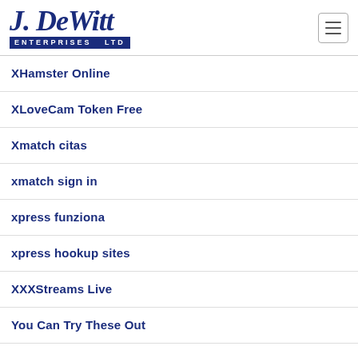[Figure (logo): J. DeWitt Enterprises Ltd logo — cursive blue script 'J. DeWitt' above a navy banner reading 'ENTERPRISES LTD']
XHamster Online
XLoveCam Token Free
Xmatch citas
xmatch sign in
xpress funziona
xpress hookup sites
XXXStreams Live
You Can Try These Out